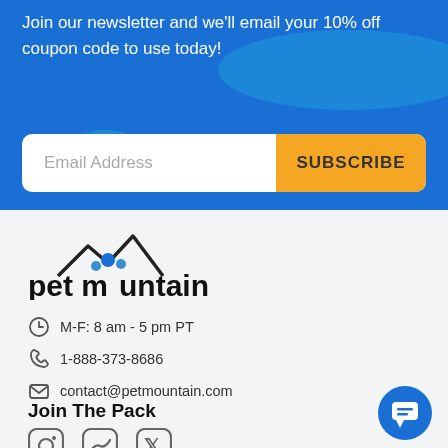Join our newsletter and we'll email your 10% off coupon code to use today!
Email Address
SUBSCRIBE
[Figure (logo): PetMountain logo with mountain outline and paw print dots]
M-F: 8 am - 5 pm PT
1-888-373-8686
contact@petmountain.com
Join The Pack